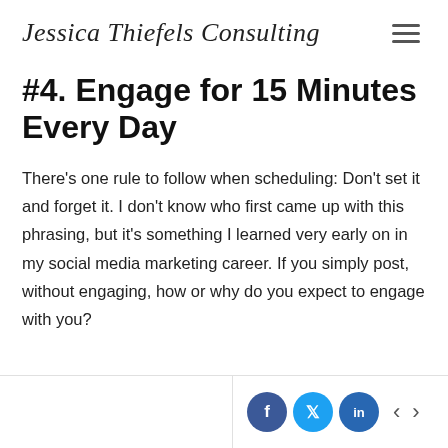Jessica Thiefels Consulting
#4. Engage for 15 Minutes Every Day
There's one rule to follow when scheduling: Don't set it and forget it. I don't know who first came up with this phrasing, but it's something I learned very early on in my social media marketing career. If you simply post, without engaging, how or why do you expect to engage with you?
Social share icons: Facebook, Twitter, LinkedIn; navigation arrows